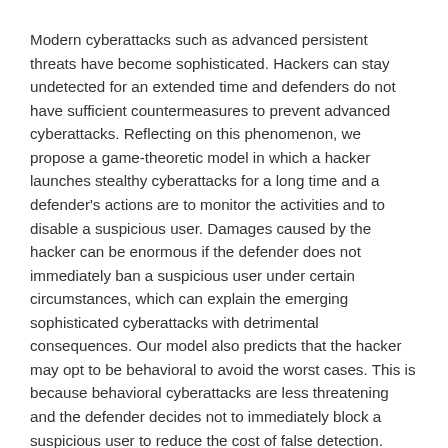Modern cyberattacks such as advanced persistent threats have become sophisticated. Hackers can stay undetected for an extended time and defenders do not have sufficient countermeasures to prevent advanced cyberattacks. Reflecting on this phenomenon, we propose a game-theoretic model in which a hacker launches stealthy cyberattacks for a long time and a defender's actions are to monitor the activities and to disable a suspicious user. Damages caused by the hacker can be enormous if the defender does not immediately ban a suspicious user under certain circumstances, which can explain the emerging sophisticated cyberattacks with detrimental consequences. Our model also predicts that the hacker may opt to be behavioral to avoid the worst cases. This is because behavioral cyberattacks are less threatening and the defender decides not to immediately block a suspicious user to reduce the cost of false detection.